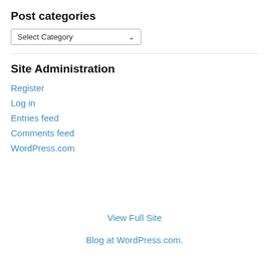Post categories
[Figure (screenshot): Dropdown selector labelled 'Select Category' with a down-arrow chevron]
Site Administration
Register
Log in
Entries feed
Comments feed
WordPress.com
View Full Site
Blog at WordPress.com.